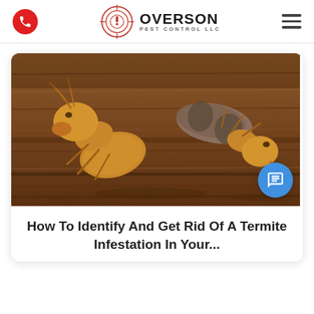[Figure (logo): Overson Pest Control LLC logo with target/crosshair emblem and company name]
[Figure (photo): Close-up macro photograph of two termites on wood surface, showing amber/yellow colored bodies against brown textured wood grain]
How To Identify And Get Rid Of A Termite Infestation In Your...